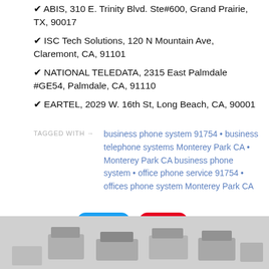✔ ABIS, 310 E. Trinity Blvd. Ste#600, Grand Prairie, TX, 90017
✔ ISC Tech Solutions, 120 N Mountain Ave, Claremont, CA, 91101
✔ NATIONAL TELEDATA, 2315 East Palmdale #GE54, Palmdale, CA, 91110
✔ EARTEL, 2029 W. 16th St, Long Beach, CA, 90001
TAGGED WITH →   business phone system 91754 • business telephone systems Monterey Park CA • Monterey Park CA business phone system • office phone service 91754 • offices phone system Monterey Park CA
[Figure (screenshot): Social share buttons: Tweet (Twitter/blue) and Save (Pinterest/red), with SHARE → label]
[Figure (photo): Bottom portion of page showing business phone/telephone equipment photo]